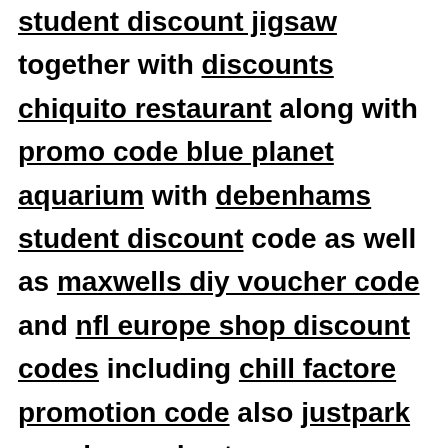student discount jigsaw together with discounts chiquito restaurant along with promo code blue planet aquarium with debenhams student discount code as well as maxwells diy voucher code and nfl europe shop discount codes including chill factore promotion code also justpark voucher codes to crocus discount code nhs and f hinds nhs discount code and